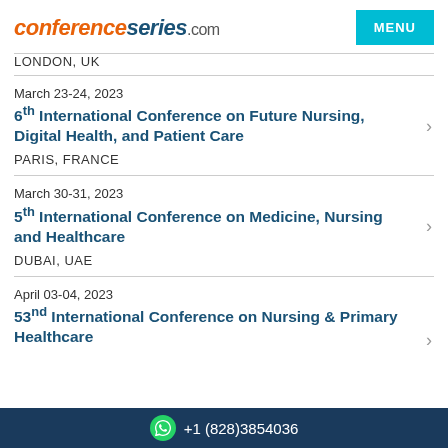conferenceseries.com
LONDON, UK
March 23-24, 2023
6th International Conference on Future Nursing, Digital Health, and Patient Care
PARIS, FRANCE
March 30-31, 2023
5th International Conference on Medicine, Nursing and Healthcare
DUBAI, UAE
April 03-04, 2023
53nd International Conference on Nursing & Primary Healthcare
+1 (828)3854036